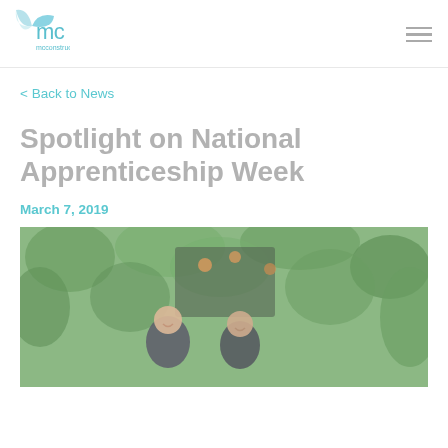mcconstruction.co.uk
< Back to News
Spotlight on National Apprenticeship Week
March 7, 2019
[Figure (photo): Two people smiling in front of a green plant wall backdrop with hanging lights]